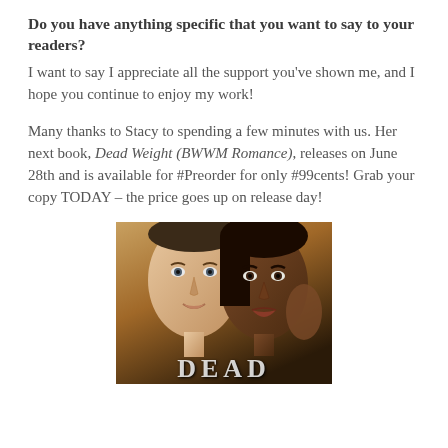Do you have anything specific that you want to say to your readers?
I want to say I appreciate all the support you've shown me, and I hope you continue to enjoy my work!
Many thanks to Stacy to spending a few minutes with us. Her next book, Dead Weight (BWWM Romance), releases on June 28th and is available for #Preorder for only #99cents! Grab your copy TODAY – the price goes up on release day!
[Figure (photo): Book cover for Dead Weight (BWWM Romance) showing a white man and a Black woman side by side in a close portrait, with the title DEAD at the bottom in large decorative letters.]